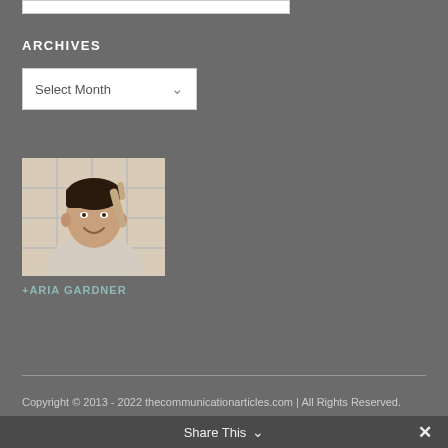ARCHIVES
[Figure (screenshot): Dropdown select box with 'Select Month' text and a chevron arrow]
[Figure (photo): Photo of a smiling woman with short dark hair, wearing a light blazer, pointing upward with one finger, in front of a grid/window background]
+ARIA GARDNER
Copyright © 2013 - 2022 thecommunicationarticles.com | All Rights Reserved.
Share This